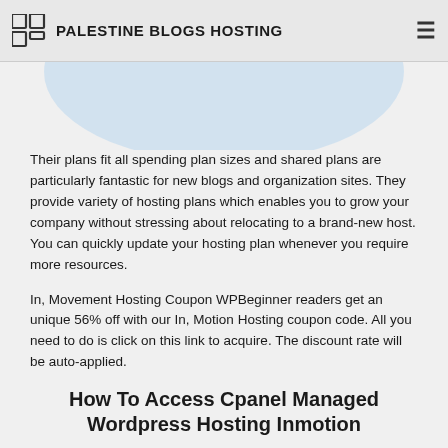PALESTINE BLOGS HOSTING
[Figure (illustration): Light blue oval/teardrop decorative shape partially visible at top of content area]
Their plans fit all spending plan sizes and shared plans are particularly fantastic for new blogs and organization sites. They provide variety of hosting plans which enables you to grow your company without stressing about relocating to a brand-new host. You can quickly update your hosting plan whenever you require more resources.
In, Movement Hosting Coupon WPBeginner readers get an unique 56% off with our In, Motion Hosting coupon code. All you need to do is click on this link to acquire. The discount rate will be auto-applied.
How To Access Cpanel Managed Wordpress Hosting Inmotion